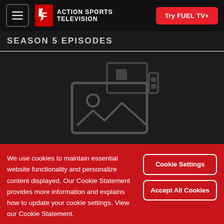FUEL TV — Action Sports Television | Try FUEL TV+
SEASON 5 EPISODES
[Figure (other): Dark placeholder thumbnail with image/playlist icons in dark overlay]
We use cookies to maintain essential website functionality and personalize content displayed. Our Cookie Statement provides more information and explains how to update your cookie settings. View our Cookie Statement.
Cookie Settings
Accept All Cookies